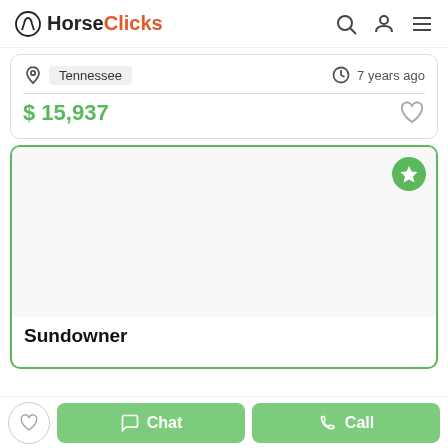HorseClicks
Tennessee · 7 years ago
$ 15,937
[Figure (screenshot): Blank white image area for a horse listing photo]
Sundowner
Chat · Call